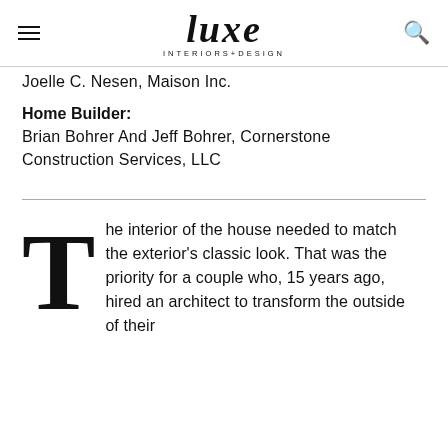luxe INTERIORS+DESIGN
Joelle C. Nesen, Maison Inc.
Home Builder:
Brian Bohrer And Jeff Bohrer, Cornerstone Construction Services, LLC
The interior of the house needed to match the exterior's classic look. That was the priority for a couple who, 15 years ago, hired an architect to transform the outside of their